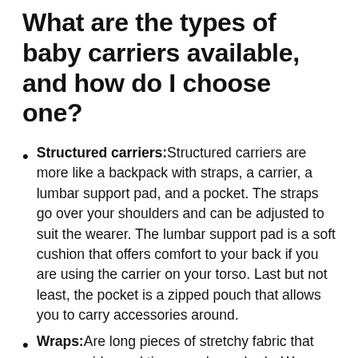What are the types of baby carriers available, and how do I choose one?
Structured carriers: Structured carriers are more like a backpack with straps, a carrier, a lumbar support pad, and a pocket. The straps go over your shoulders and can be adjusted to suit the wearer. The lumbar support pad is a soft cushion that offers comfort to your back if you are using the carrier on your torso. Last but not least, the pocket is a zipped pouch that allows you to carry accessories around.
Wraps: Are long pieces of stretchy fabric that you consider and tie around your body. Wraps go over your shoulder to your body's mid-section to form a carrier like structure that supports the child. Most wraps come in different prints and can be worn either on the back or front, depending on your preference.